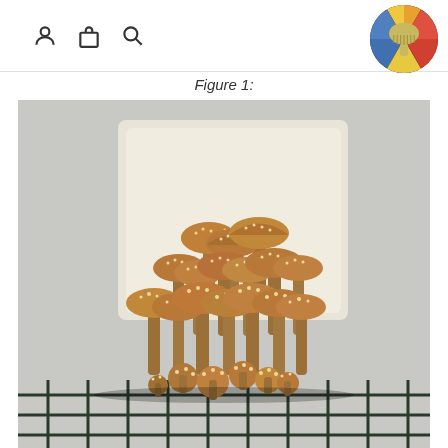navigation icons and logo
Figure 1:
[Figure (photo): A large cluster of shiitake mushrooms growing out of a white substrate block, sitting on a wire rack. The mushrooms have brown speckled caps with white dots/scales, densely packed together in various stages of growth.]